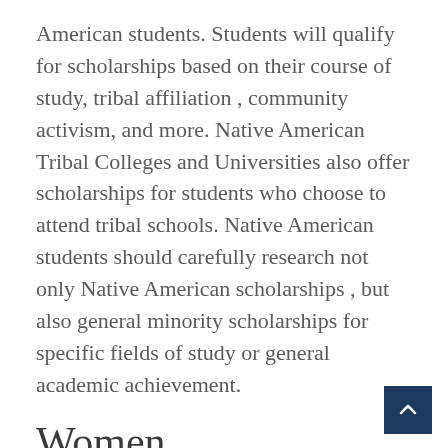American students. Students will qualify for scholarships based on their course of study, tribal affiliation , community activism, and more. Native American Tribal Colleges and Universities also offer scholarships for students who choose to attend tribal schools. Native American students should carefully research not only Native American scholarships , but also general minority scholarships for specific fields of study or general academic achievement.
Women
Women are considered a minority group in that there is a gender gap in many fields of work study. While some scholarships generally serve